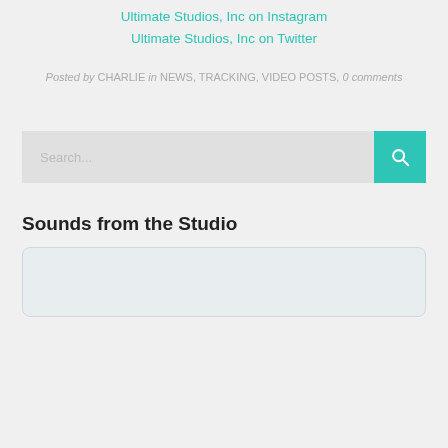Ultimate Studios, Inc on Instagram
Ultimate Studios, Inc on Twitter
Posted by CHARLIE in NEWS, TRACKING, VIDEO POSTS, 0 comments
[Figure (screenshot): Search bar with teal search button containing a magnifying glass icon]
Sounds from the Studio
[Figure (screenshot): Audio player widget with light blue-grey rounded rectangle background]